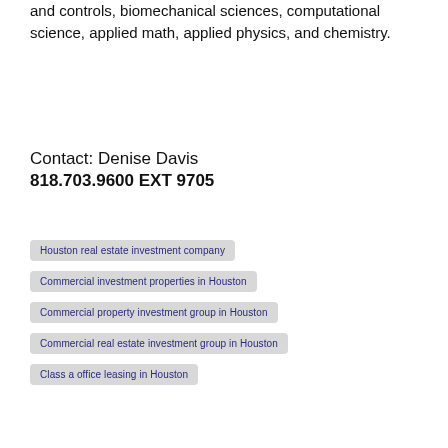and controls, biomechanical sciences, computational science, applied math, applied physics, and chemistry.
Contact: Denise Davis
818.703.9600 EXT 9705
Houston real estate investment company
Commercial investment properties in Houston
Commercial property investment group in Houston
Commercial real estate investment group in Houston
Class a office leasing in Houston